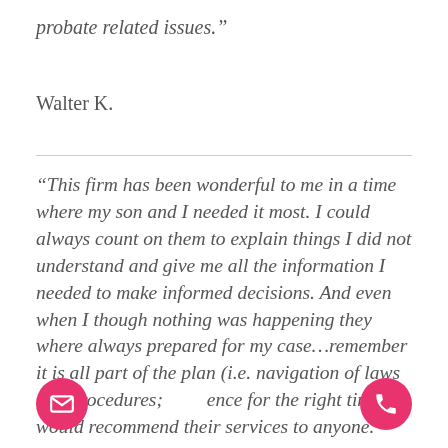probate related issues.”
Walter K.
“This firm has been wonderful to me in a time where my son and I needed it most. I could always count on them to explain things I did not understand and give me all the information I needed to make informed decisions. And even when I though nothing was happening they where always prepared for my case…remember it is all part of the plan (i.e. navigation of laws and procedures; …ence for the right time). I would recommend their services to anyone.”